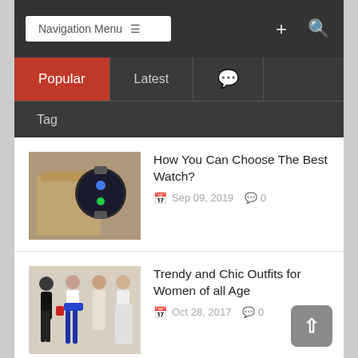Navigation Menu  +  🔍
Popular | Latest | 💬 | Tag
How You Can Choose The Best Watch?
Sep 09, 2019  0
Trendy and Chic Outfits for Women of all Age
Oct 28, 2017  0
How to choose the best contact lens?
Sep 28, 2017  5
Snow Queen breaks all